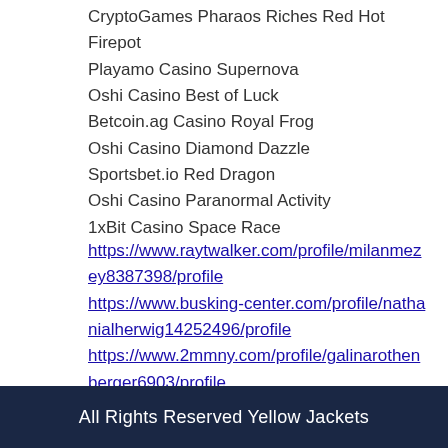CryptoGames Pharaos Riches Red Hot Firepot
Playamo Casino Supernova
Oshi Casino Best of Luck
Betcoin.ag Casino Royal Frog
Oshi Casino Diamond Dazzle
Sportsbet.io Red Dragon
Oshi Casino Paranormal Activity
1xBit Casino Space Race
https://www.raytwalker.com/profile/milanmezey8387398/profile
https://www.busking-center.com/profile/nathanialherwig14252496/profile
https://www.2mmny.com/profile/galinarothenberger6903/profile
https://www.simplydoideas.org/profile/merleschliesser7019369/profile
All Rights Reserved Yellow Jackets